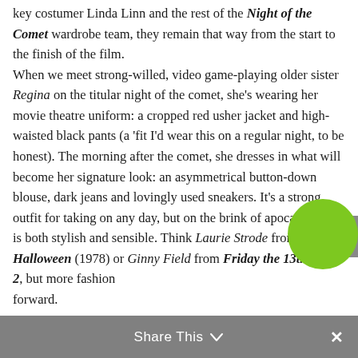key costumer Linda Linn and the rest of the Night of the Comet wardrobe team, they remain that way from the start to the finish of the film.

When we meet strong-willed, video game-playing older sister Regina on the titular night of the comet, she's wearing her movie theatre uniform: a cropped red usher jacket and high-waisted black pants (a 'fit I'd wear this on a regular night, to be honest). The morning after the comet, she dresses in what will become her signature look: an asymmetrical button-down blouse, dark jeans and lovingly used sneakers. It's a strong outfit for taking on any day, but on the brink of apocalypse, it is both stylish and sensible. Think Laurie Strode from Halloween (1978) or Ginny Field from Friday the 13th Part 2, but more fashion forward.
Share This ∨  ×